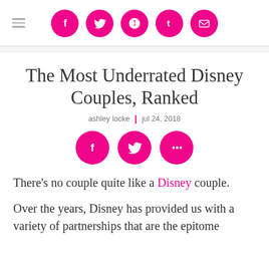Social share icons: Facebook, Twitter, Pinterest, Tumblr, Email
The Most Underrated Disney Couples, Ranked
ashley locke | jul 24, 2018
[Figure (infographic): Three pink circle social share icons: Facebook (f), Twitter (bird), and More (ellipsis dots)]
There's no couple quite like a Disney couple.
Over the years, Disney has provided us with a variety of partnerships that are the epitome